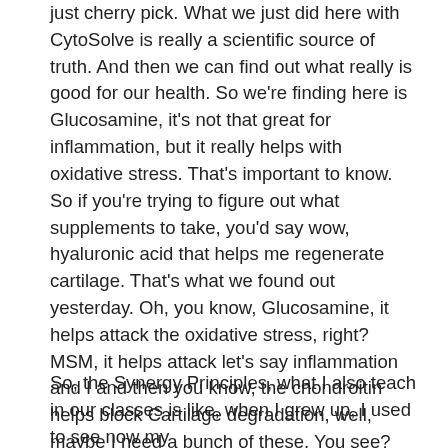just cherry pick. What we just did here with CytoSolve is really a scientific source of truth. And then we can find out what really is good for our health. So we're finding here is Glucosamine, it's not that great for inflammation, but it really helps with oxidative stress. That's important to know. So if you're trying to figure out what supplements to take, you'd say wow, hyaluronic acid that helps me regenerate cartilage. That's what we found out yesterday. Oh, you know, Glucosamine, it helps attack the oxidative stress, right? MSM, it helps attack let's say inflammation and I and then you know, the chondroitin helps block Cartilage degradation, well, maybe I need a bunch of these. You see? And so as a part of that, I want to end with showing you and I know you guys are writing and what about mV25, we are going to get to that.
So, the Synergy Principles, what I also teach in our classes is like, when I grew up, I used to see now my